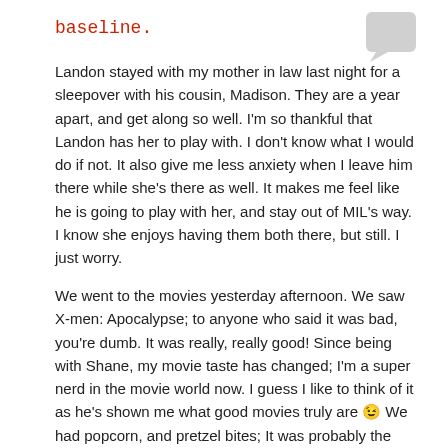baseline.
[Figure (illustration): Speech bubble / chat bubble icon in light gray, positioned top right]
Landon stayed with my mother in law last night for a sleepover with his cousin, Madison. They are a year apart, and get along so well. I'm so thankful that Landon has her to play with. I don't know what I would do if not. It also give me less anxiety when I leave him there while she's there as well. It makes me feel like he is going to play with her, and stay out of MIL's way. I know she enjoys having them both there, but still. I just worry.
We went to the movies yesterday afternoon. We saw X-men: Apocalypse; to anyone who said it was bad, you're dumb. It was really, really good! Since being with Shane, my movie taste has changed; I'm a super nerd in the movie world now. I guess I like to think of it as he's shown me what good movies truly are 😉 We had popcorn, and pretzel bites; It was probably the worst we've eaten in like 4 months. So worth it! After the movie, we went to dinner at one of our favorite restaurants. I enjoy spending time with Shane anywhere we are, but the movies and dinner are my